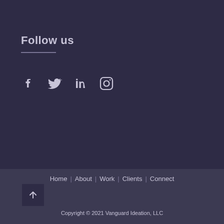Follow us
[Figure (other): Social media icons: Facebook, Twitter, LinkedIn, Instagram]
Home | About | Work | Clients | Connect
Copyright © 2021 Vanguard Ideation, LLC